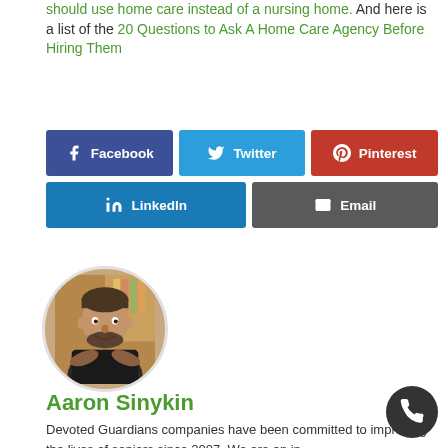should use home care instead of a nursing home. And here is a list of the 20 Questions to Ask A Home Care Agency Before Hiring Them
[Figure (infographic): Social share buttons: Facebook (dark blue), Twitter (light blue), Pinterest (red), LinkedIn (blue), Email (gray)]
[Figure (photo): Circular photo of Aaron Sinykin, a man with a beard wearing a black polo shirt, arms crossed, in an office environment]
Aaron Sinykin
Devoted Guardians companies have been committed to improving the lives of seniors since 2007. We are an in-home care provider of personal and companion care...